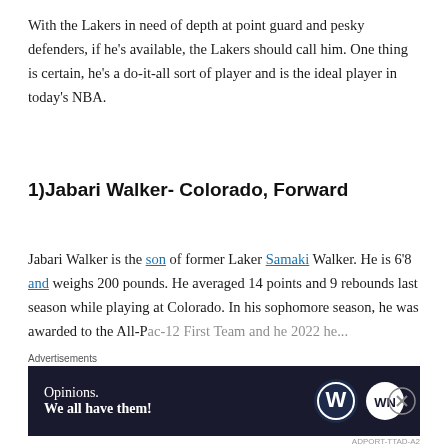With the Lakers in need of depth at point guard and pesky defenders, if he's available, the Lakers should call him. One thing is certain, he's a do-it-all sort of player and is the ideal player in today's NBA.
1)Jabari Walker- Colorado, Forward
Jabari Walker is the son of former Laker Samaki Walker. He is 6'8 and weighs 200 pounds. He averaged 14 points and 9 rebounds last season while playing at Colorado. In his sophomore season, he was awarded to the All-Pac-12 First Team and he 2022 he...
[Figure (other): Advertisement banner: dark navy background with 'Opinions. We all have them!' text and WordPress and WN logos]